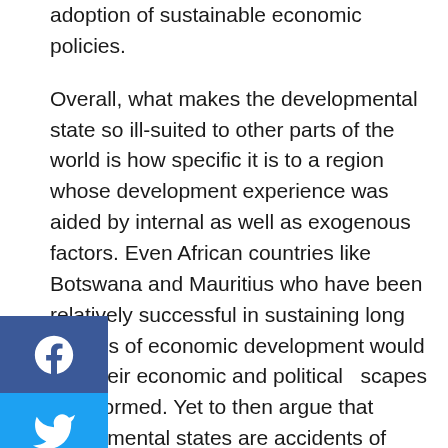adoption of sustainable economic policies.
Overall, what makes the developmental state so ill-suited to other parts of the world is how specific it is to a region whose development experience was aided by internal as well as exogenous factors. Even African countries like Botswana and Mauritius who have been relatively successful in sustaining long periods of economic development would find their economic and political landscapes transformed. Yet to then argue that developmental states are accidents of history neglects idea that circumstances change, and the political will driving development policies must adjust accordingly. African states looking to take on a more central role in economic planning must pay attention to both domestic and international spaces. Understanding the specific history of the developmental state is a vital task for those seeking real development for the continent.